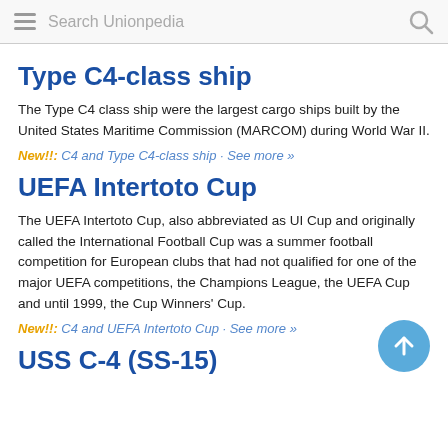Search Unionpedia
Type C4-class ship
The Type C4 class ship were the largest cargo ships built by the United States Maritime Commission (MARCOM) during World War II.
New!!: C4 and Type C4-class ship · See more »
UEFA Intertoto Cup
The UEFA Intertoto Cup, also abbreviated as UI Cup and originally called the International Football Cup was a summer football competition for European clubs that had not qualified for one of the major UEFA competitions, the Champions League, the UEFA Cup and until 1999, the Cup Winners' Cup.
New!!: C4 and UEFA Intertoto Cup · See more »
USS C-4 (SS-15)